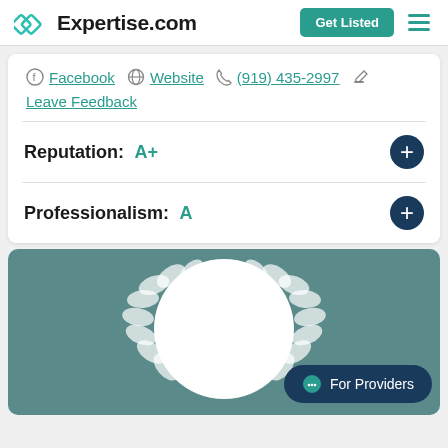Expertise.com | Get Listed
Facebook  Website  (919) 435-2997
Leave Feedback
Reputation: A+
Professionalism: A
[Figure (illustration): Award badge with laurel wreath and circular profile photo placeholder on teal background, with 'For Providers' chat button overlay]